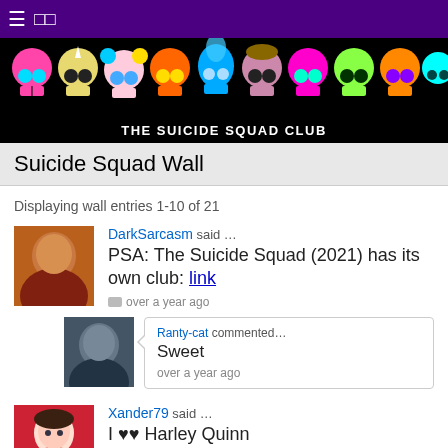THE SUICIDE SQUAD CLUB
Suicide Squad Wall
Displaying wall entries 1-10 of 21
DarkSarcasm said … PSA: The Suicide Squad (2021) has its own club: link — over a year ago
Ranty-cat commented… Sweet — over a year ago
Xander79 said … I ♥ Harley Quinn — over a year ago